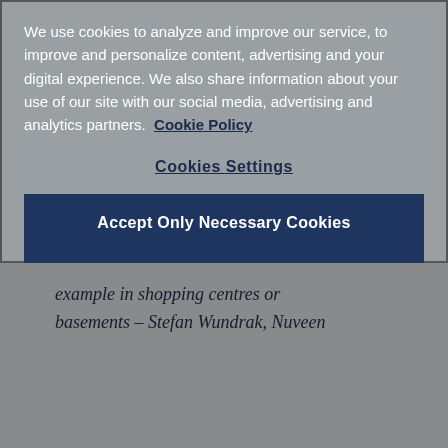We use cookies to analyze and improve our service, to improve and personalize content, advertising and your digital experience. We also share information about your use of our site with our social media, advertising and analytics partners.  Cookie Policy
Cookies Settings
Accept Only Necessary Cookies
Accept All Cookies
example in shopping centres or basements – Stefan Wundrak, Nuveen